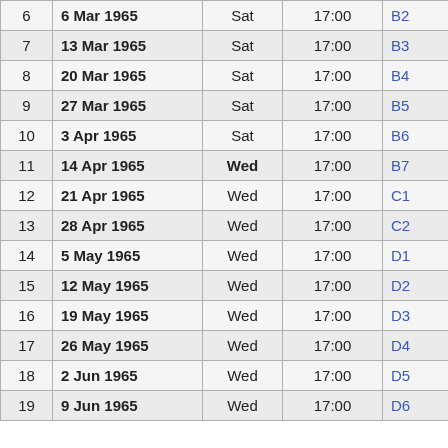| # | Date | Day | Time | Code |
| --- | --- | --- | --- | --- |
| 6 | 6 Mar 1965 | Sat | 17:00 | B2 |
| 7 | 13 Mar 1965 | Sat | 17:00 | B3 |
| 8 | 20 Mar 1965 | Sat | 17:00 | B4 |
| 9 | 27 Mar 1965 | Sat | 17:00 | B5 |
| 10 | 3 Apr 1965 | Sat | 17:00 | B6 |
| 11 | 14 Apr 1965 | Wed | 17:00 | B7 |
| 12 | 21 Apr 1965 | Wed | 17:00 | C1 |
| 13 | 28 Apr 1965 | Wed | 17:00 | C2 |
| 14 | 5 May 1965 | Wed | 17:00 | D1 |
| 15 | 12 May 1965 | Wed | 17:00 | D2 |
| 16 | 19 May 1965 | Wed | 17:00 | D3 |
| 17 | 26 May 1965 | Wed | 17:00 | D4 |
| 18 | 2 Jun 1965 | Wed | 17:00 | D5 |
| 19 | 9 Jun 1965 | Wed | 17:00 | D6 |